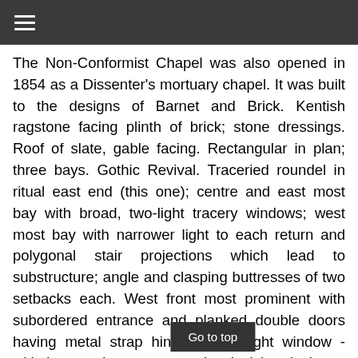≡
The Non-Conformist Chapel was also opened in 1854 as a Dissenter's mortuary chapel. It was built to the designs of Barnet and Brick. Kentish ragstone facing plinth of brick; stone dressings. Roof of slate, gable facing. Rectangular in plan; three bays. Gothic Revival. Traceried roundel in ritual east end (this one); centre and east most bay with broad, two-light tracery windows; west most bay with narrower light to each return and polygonal stair projections which lead to substructure; angle and clasping buttresses of two setbacks each. West front most prominent with subordered entrance and planked double doors having metal strap hinges; three-light window - with intersecting tracery and ogival hood above; gable copings, kneelers an
Go to top